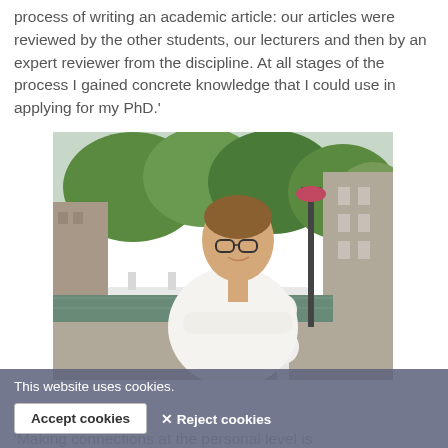process of writing an academic article: our articles were reviewed by the other students, our lecturers and then by an expert reviewer from the discipline. At all stages of the process I gained concrete knowledge that I could use in applying for my PhD.'
[Figure (photo): Young man with glasses in a white shirt leaning on a railing by a canal, with a bridge and trees in the background, in a Dutch city setting.]
This website uses cookies.
Accept cookies   ✕ Reject cookies
'Making connections at the personal level is